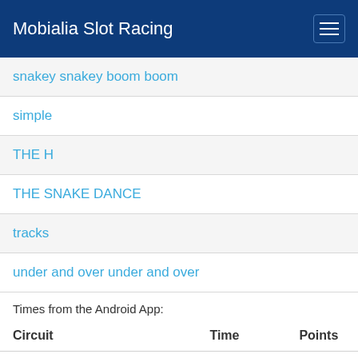Mobialia Slot Racing
snakey snakey boom boom
simple
THE H
THE SNAKE DANCE
tracks
under and over under and over
Times from the Android App:
| Circuit | Time | Points |
| --- | --- | --- |
| O | 00:07.640 | 0 |
| mobile | 00:08.241 | 0 |
| Boomerang Car?! | 00:10.226 | 0 |